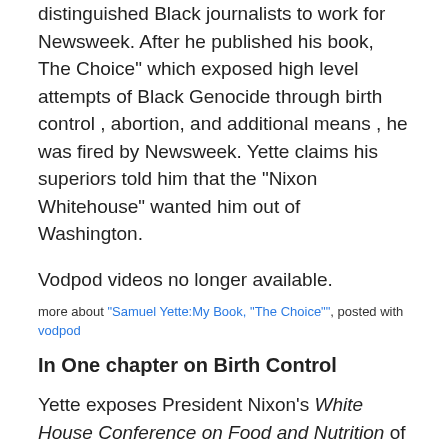distinguished Black journalists to work for Newsweek. After he published his book, The Choice" which exposed high level attempts of Black Genocide through birth control , abortion, and additional means , he was fired by Newsweek. Yette claims his superiors told him that the "Nixon Whitehouse" wanted him out of Washington.
Vodpod videos no longer available.
more about "Samuel Yette:My Book, "The Choice"", posted with vodpod
In One chapter on Birth Control
Yette exposes President Nixon's White House Conference on Food and Nutrition of December 2-4, 1969. In Mr. Yette's words it, "was worse than a farce." President Nixon opened the conference with 3 recommendations designed to reduce the number of hungry people! He suggested no measures for the relief of hunger in America.